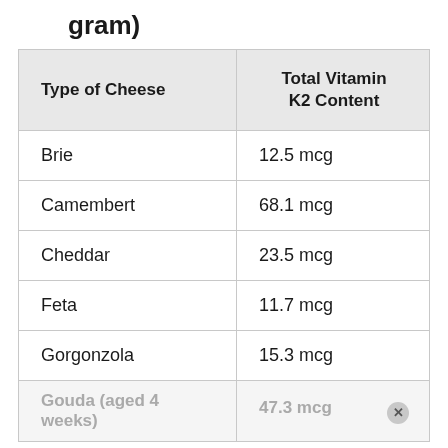gram)
| Type of Cheese | Total Vitamin K2 Content |
| --- | --- |
| Brie | 12.5 mcg |
| Camembert | 68.1 mcg |
| Cheddar | 23.5 mcg |
| Feta | 11.7 mcg |
| Gorgonzola | 15.3 mcg |
| Gouda (aged 4 weeks) | 47.3 mcg |